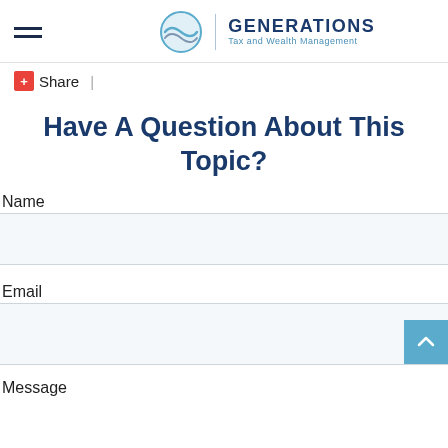GENERATIONS Tax and Wealth Management
+ Share |
Have A Question About This Topic?
Name
Email
Message